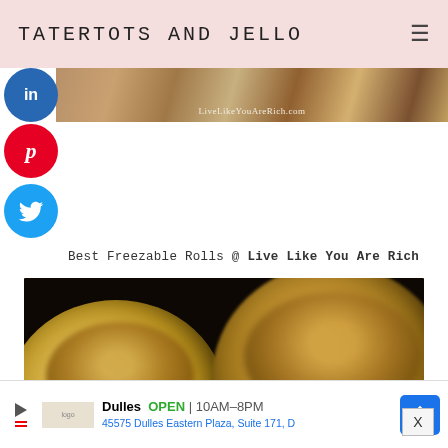TATERTOTS AND JELLO
[Figure (photo): Marble/granite textured banner strip with URL LiveLikeYouAreRich.com]
[Figure (illustration): LinkedIn social share circle button (blue)]
[Figure (illustration): Pinterest social share circle button (red) with 'p' icon]
[Figure (illustration): Twitter social share circle button (light blue) with bird icon]
Best Freezable Rolls @ Live Like You Are Rich
[Figure (photo): Close-up photo of two caramel/nut topped rolls on dark background]
[Figure (other): Advertisement banner: Dulles store OPEN 10AM-8PM, 45575 Dulles Eastern Plaza, Suite 171, D]